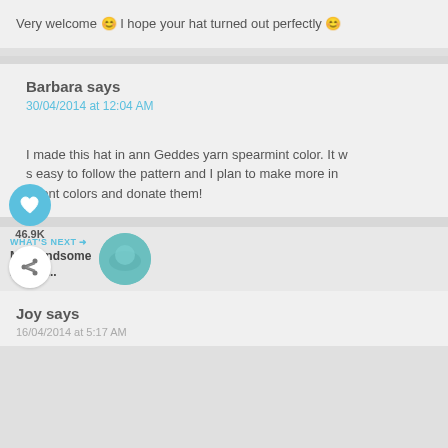Very welcome 🙂 I hope your hat turned out perfectly 🙂
Barbara says
30/04/2014 at 12:04 AM
I made this hat in ann Geddes yarn spearmint color. It was easy to follow the pattern and I plan to make more in different colors and donate them!
[Figure (infographic): Like button (heart icon, blue circle) with 46.9K count and share button below]
WHAT'S NEXT → My Handsome Prince...
[Figure (photo): Circular thumbnail of teal/blue colored hat or yarn]
Joy says
16/04/2014 at 5:17 AM